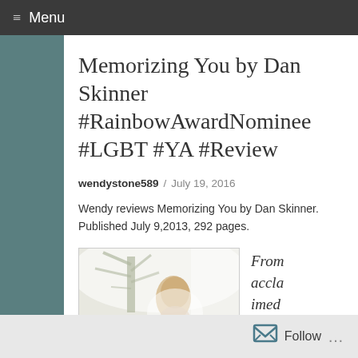≡ Menu
Memorizing You by Dan Skinner #RainbowAwardNominee #LGBT #YA #Review
wendystone589 / July 19, 2016
Wendy reviews Memorizing You by Dan Skinner. Published July 9,2013, 292 pages.
[Figure (photo): Book cover of Memorizing You by Dan Skinner showing a person with long hair against a misty tree background]
From acclaimed m/m
Follow ...